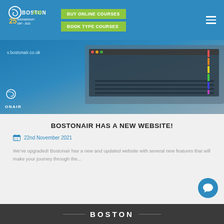BUY ONLINE COURSES | BOOK TYPE COURSES
[Figure (screenshot): Hero banner image showing a laptop on a desk with the bostonair.co.uk URL and Bostonair logo overlay on a blue tinted background]
BOSTONAIR HAS A NEW WEBSITE!
22nd November 2021
We've upgraded! Bostonair has a new and updated website with several new features that will make your journey through the...
[Figure (screenshot): Bottom dark section with BOSTON text and decorative lines]